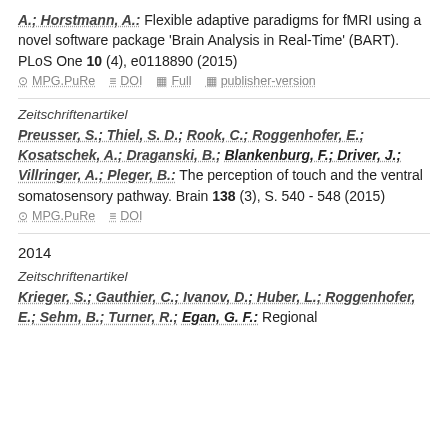A.; Horstmann, A.: Flexible adaptive paradigms for fMRI using a novel software package 'Brain Analysis in Real-Time' (BART). PLoS One 10 (4), e0118890 (2015)
MPG.PuRe  DOI  Full  publisher-version
Zeitschriftenartikel
Preusser, S.; Thiel, S. D.; Rook, C.; Roggenhofer, E.; Kosatschek, A.; Draganski, B.; Blankenburg, F.; Driver, J.; Villringer, A.; Pleger, B.: The perception of touch and the ventral somatosensory pathway. Brain 138 (3), S. 540 - 548 (2015)
MPG.PuRe  DOI
2014
Zeitschriftenartikel
Krieger, S.; Gauthier, C.; Ivanov, D.; Huber, L.; Roggenhofer, E.; Sehm, B.; Turner, R.; Egan, G. F.: Regional